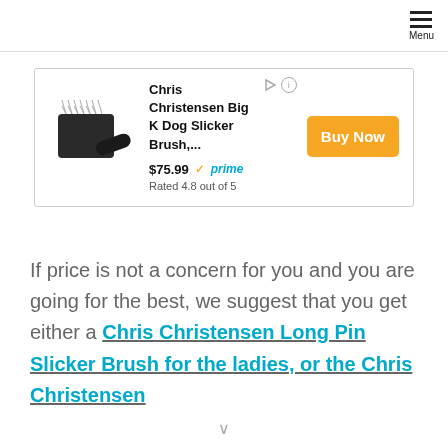Menu
[Figure (screenshot): Amazon product ad for Chris Christensen Big K Dog Slicker Brush showing product image, price $75.99, Prime badge, rating 4.8 out of 5, and Buy Now button]
If price is not a concern for you and you are going for the best, we suggest that you get either a Chris Christensen Long Pin Slicker Brush for the ladies, or the Chris Christensen